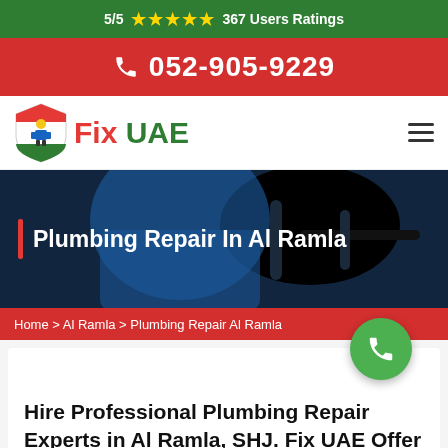5/5 ★★★★★ 367 Users Ratings
052-905-9229
[Figure (logo): Fix UAE logo with shield and plumber mascot]
[Figure (photo): Plumber working under sink in dark background]
Plumbing Repair In Al Ramla
Home > Al Ramla > Plumbing Repair Al Ramla
Hire Professional Plumbing Repair Experts in Al Ramla, SHJ. Fix UAE Offer To Repair All Types of Plumbing Needs Like Emergency